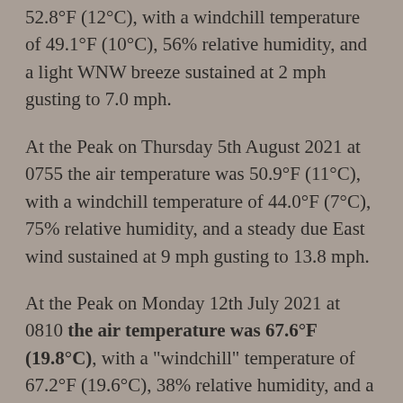52.8°F (12°C), with a windchill temperature of 49.1°F (10°C), 56% relative humidity, and a light WNW breeze sustained at 2 mph gusting to 7.0 mph.
At the Peak on Thursday 5th August 2021 at 0755 the air temperature was 50.9°F (11°C), with a windchill temperature of 44.0°F (7°C), 75% relative humidity, and a steady due East wind sustained at 9 mph gusting to 13.8 mph.
At the Peak on Monday 12th July 2021 at 0810 the air temperature was 67.6°F (19.8°C), with a "windchill" temperature of 67.2°F (19.6°C), 38% relative humidity, and a very light NNE breeze sustained at 2 mph gusting to 7.2 mph. This the highest air temperature ever reliably recorded at